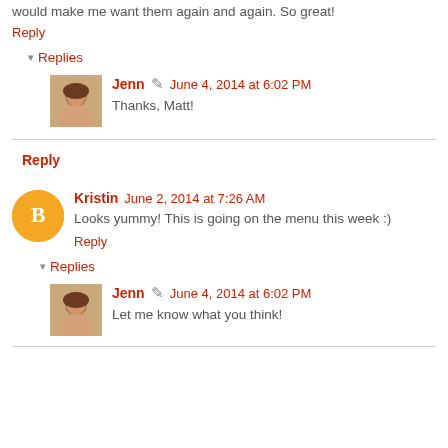would make me want them again and again. So great!
Reply
Replies
Jenn  June 4, 2014 at 6:02 PM
Thanks, Matt!
Reply
Kristin  June 2, 2014 at 7:26 AM
Looks yummy! This is going on the menu this week :)
Reply
Replies
Jenn  June 4, 2014 at 6:02 PM
Let me know what you think!